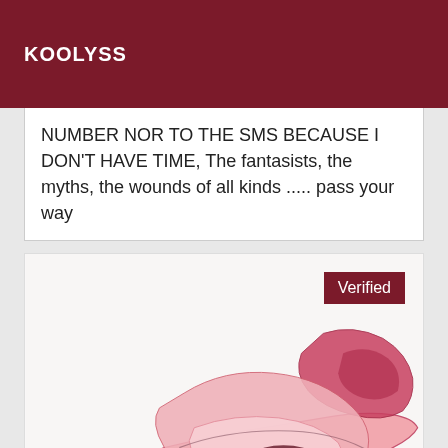KOOLYSS
NUMBER NOR TO THE SMS BECAUSE I DON'T HAVE TIME, The fantasists, the myths, the wounds of all kinds ..... pass your way
[Figure (illustration): Abstract illustration of stylized pink and red lips or mouth form with flowing organic shapes on a white background, with a 'Verified' badge overlay in the top right corner.]